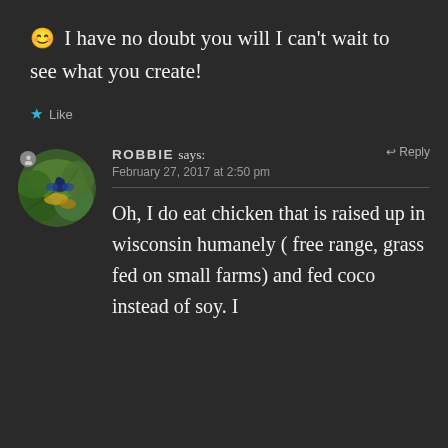😊 I have no doubt you will I can't wait to see what you create!
★ Like
ROBBIE says:
February 27, 2017 at 2:50 pm
Oh, I do eat chicken that is raised up in wisconsin humanely ( free range, grass fed on small farms) and fed coco instead of soy. I